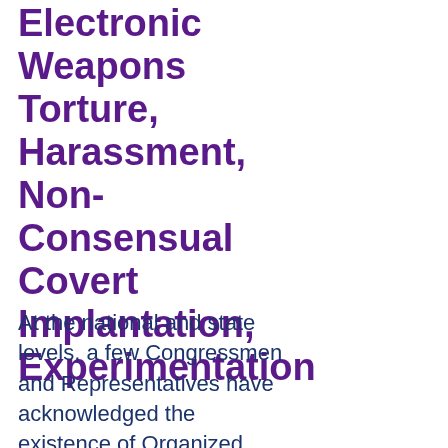Electronic Weapons Torture, Harassment, Non-Consensual Covert Implantation, Experimentation
At the national and state levels, a few Congressmen and Representatives have acknowledged the existence of Organized Torture and Stalking programs. Senator